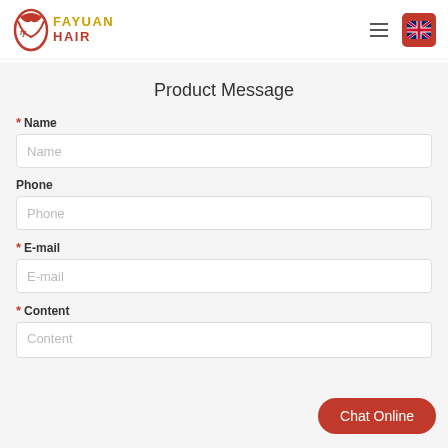Fayuan Hair - Product Message contact form
Product Message
* Name
Phone
* E-mail
* Content
Chat Online